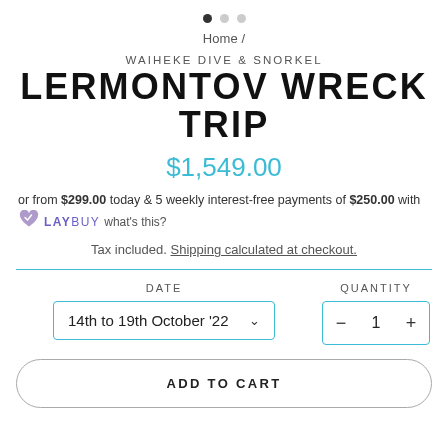[Figure (other): Three navigation dots indicator, first dot filled/active, two dots gray]
Home /
WAIHEKE DIVE & SNORKEL
LERMONTOV WRECK TRIP
$1,549.00
or from $299.00 today & 5 weekly interest-free payments of $250.00 with LAYBUY what's this?
Tax included. Shipping calculated at checkout.
DATE
14th to 19th October '22
QUANTITY
1
ADD TO CART